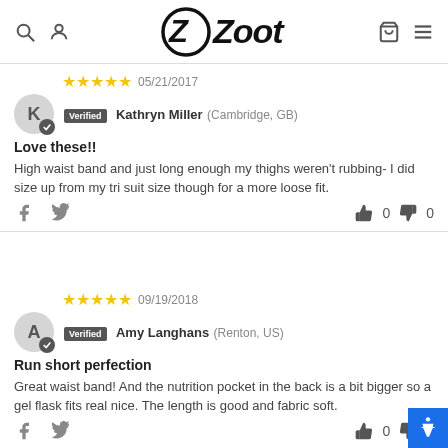Zoot Sports website header with search, account, cart, and menu icons
05/21/2017 — Verified Kathryn Miller (Cambridge, GB)
Love these!!
High waist band and just long enough my thighs weren't rubbing- I did size up from my tri suit size though for a more loose fit.
👍 0  👎 0
09/19/2018 — Verified Amy Langhans (Renton, US)
Run short perfection
Great waist band! And the nutrition pocket in the back is a bit bigger so a gel flask fits real nice. The length is good and fabric soft.
👍 0  👎 0